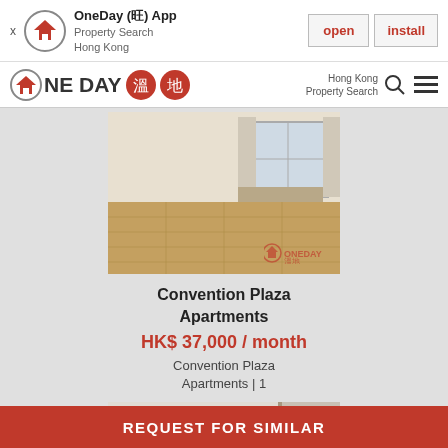OneDay (旺) App - Property Search Hong Kong - open | install
[Figure (screenshot): OneDay app navigation bar with logo showing house icon inside circle, text ONE DAY with Chinese characters, and Hong Kong Property Search with search icon and menu icon]
[Figure (photo): Interior photo of apartment room with wooden flooring, white walls, and curtained window with OneDay watermark logo]
Convention Plaza Apartments
HK$ 37,000 / month
Convention Plaza Apartments | 1
[Figure (photo): Second interior photo of apartment with white walls and door visible, OneDay watermark logo]
REQUEST FOR SIMILAR